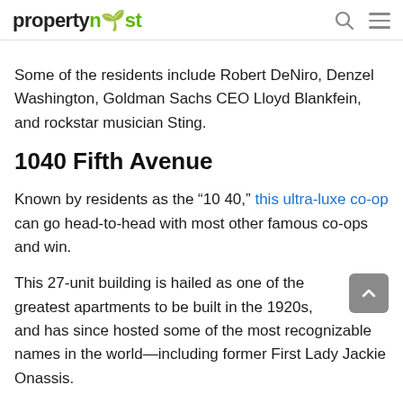propertynest
Some of the residents include Robert DeNiro, Denzel Washington, Goldman Sachs CEO Lloyd Blankfein, and rockstar musician Sting.
1040 Fifth Avenue
Known by residents as the “10 40,” this ultra-luxe co-op can go head-to-head with most other famous co-ops and win.
This 27-unit building is hailed as one of the greatest apartments to be built in the 1920s, and has since hosted some of the most recognizable names in the world—including former First Lady Jackie Onassis.